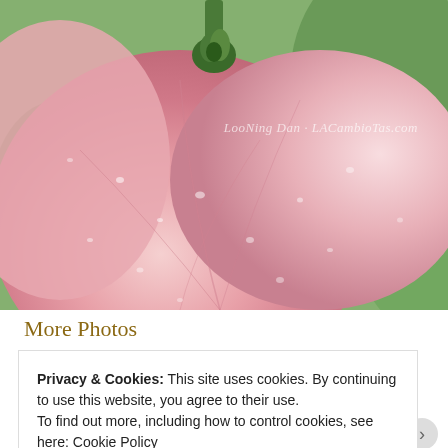[Figure (photo): Close-up macro photograph of a pink flower petal with water droplets, green stem and bud visible at top, green leaves in background. Watermark text reads: LooNing Dan - LACambiaTas.com]
More Photos
Advertisements
[Figure (logo): Jetpack advertisement: green background with white Jetpack logo (circle with lightning bolt) and white text 'Jetpack']
Privacy & Cookies: This site uses cookies. By continuing to use this website, you agree to their use.
To find out more, including how to control cookies, see here: Cookie Policy
Close and accept